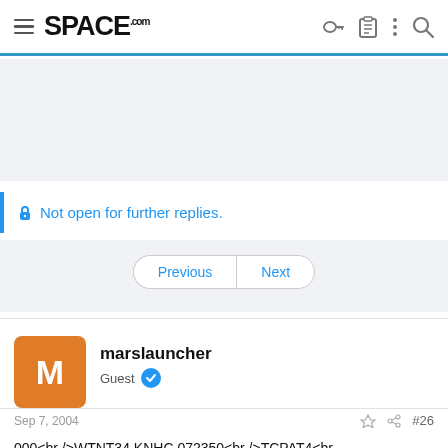SPACE.com
Not open for further replies.
Previous | Next
marslauncher
Guest
Sep 7, 2004  #26
000<br />WTNT34 KNHC 072350<br />TCPAT4<br />BULLETIN<br />HURRICANE IVAN INTERMEDIATE ADVISORY